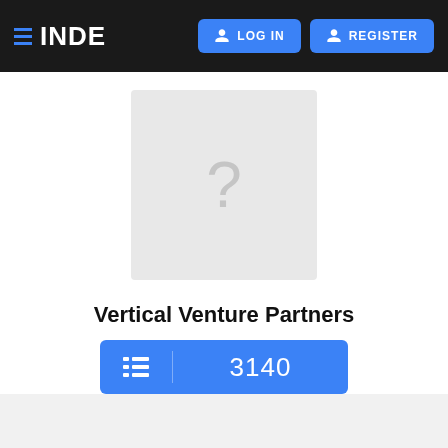INDE | LOG IN | REGISTER
[Figure (illustration): Placeholder image with a question mark, representing a company profile photo for Vertical Venture Partners]
Vertical Venture Partners
3140 (list/portfolio count button)
Overview | News | Investments
+ ADD ROUND